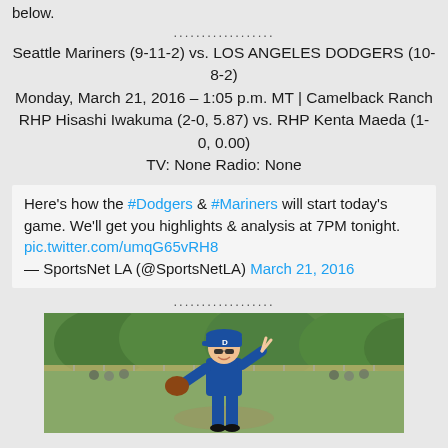below.
..................
Seattle Mariners (9-11-2) vs. LOS ANGELES DODGERS (10-8-2)
Monday, March 21, 2016 – 1:05 p.m. MT | Camelback Ranch
RHP Hisashi Iwakuma (2-0, 5.87) vs. RHP Kenta Maeda (1-0, 0.00)
TV: None Radio: None
Here's how the #Dodgers & #Mariners will start today's game. We'll get you highlights & analysis at 7PM tonight. pic.twitter.com/umqG65vRH8 — SportsNet LA (@SportsNetLA) March 21, 2016
..................
[Figure (photo): A Dodgers pitcher wearing blue Dodgers uniform and cap with 'D' logo, holding a glove, posing at Camelback Ranch with green trees and baseball field in background.]